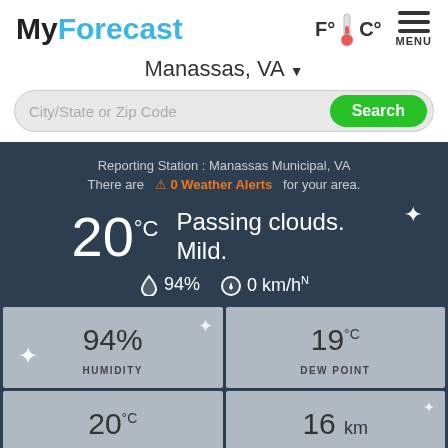MyForecast
F°🌡C° MENU
Manassas, VA ▼
City/State or Zip Code
Search
Reporting Station : Manassas Municipal, VA
There are ⚠ 0 Weather Alerts for your area.
20°C  Passing clouds. Mild.
💧 94%  ⬇ 0 km/h N
| 94% | 19°C |
| HUMIDITY | DEW POINT |
| 20°C | 16 km |
| COMFORT LEVEL | VISIBILITY |